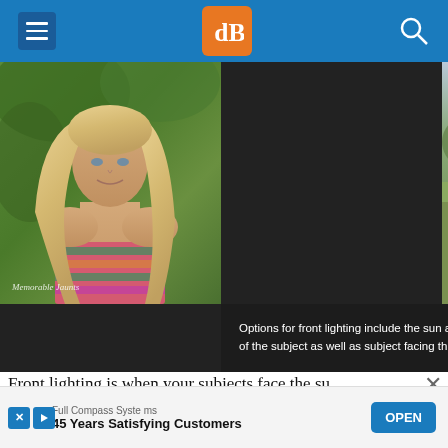[Figure (screenshot): Website header with blue background, hamburger menu icon on left, orange dPS logo in center, search icon on right]
[Figure (photo): Two side-by-side outdoor portrait photos of a blonde teenage girl. Left photo: close-up with green foliage background, colorful patterned outfit, watermark 'Memorable Jaunts'. Right photo: full body shot in teal dress in a field.]
Options for front lighting include the sun along the side of the subject as well as subject facing the sun.
Front lighting is when your subjects face the su
[Figure (screenshot): Advertisement banner: FullCompass Systems, 45 Years Satisfying Customers, with OPEN button]